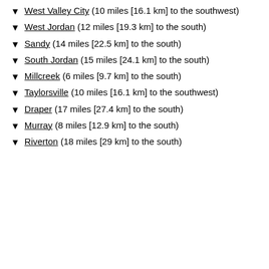West Valley City (10 miles [16.1 km] to the southwest)
West Jordan (12 miles [19.3 km] to the south)
Sandy (14 miles [22.5 km] to the south)
South Jordan (15 miles [24.1 km] to the south)
Millcreek (6 miles [9.7 km] to the south)
Taylorsville (10 miles [16.1 km] to the southwest)
Draper (17 miles [27.4 km] to the south)
Murray (8 miles [12.9 km] to the south)
Riverton (18 miles [29 km] to the south)